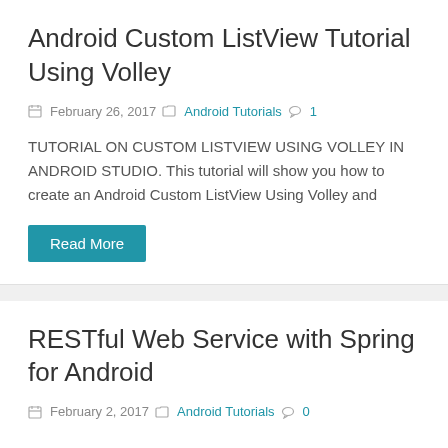Android Custom ListView Tutorial Using Volley
February 26, 2017  Android Tutorials  1
TUTORIAL ON CUSTOM LISTVIEW USING VOLLEY IN ANDROID STUDIO. This tutorial will show you how to create an Android Custom ListView Using Volley and
Read More
RESTful Web Service with Spring for Android
February 2, 2017  Android Tutorials  0